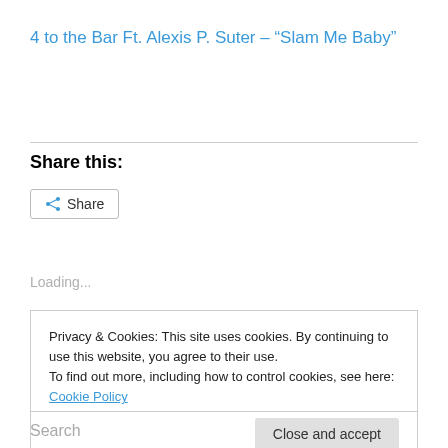4 to the Bar Ft. Alexis P. Suter – “Slam Me Baby”
Share this:
Share
Loading...
Privacy & Cookies: This site uses cookies. By continuing to use this website, you agree to their use.
To find out more, including how to control cookies, see here: Cookie Policy
Close and accept
Search